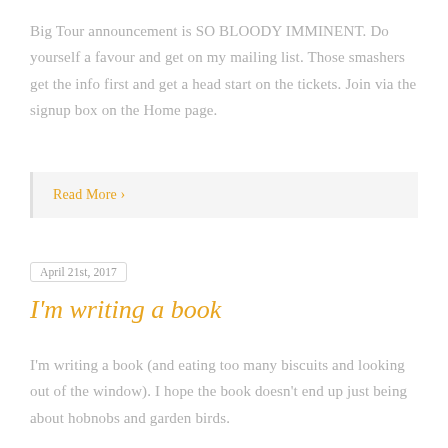Big Tour announcement is SO BLOODY IMMINENT. Do yourself a favour and get on my mailing list. Those smashers get the info first and get a head start on the tickets. Join via the signup box on the Home page.
Read More ›
April 21st, 2017
I'm writing a book
I'm writing a book (and eating too many biscuits and looking out of the window). I hope the book doesn't end up just being about hobnobs and garden birds.